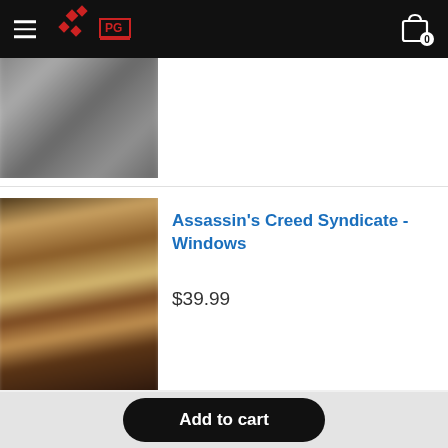Navigation bar with hamburger menu, PG logo, and cart icon (0 items)
[Figure (photo): Partially visible blurred game cover image at top of page]
[Figure (photo): Blurred game cover image for Assassin's Creed Syndicate - Windows]
Assassin's Creed Syndicate - Windows
$39.99
Add to cart